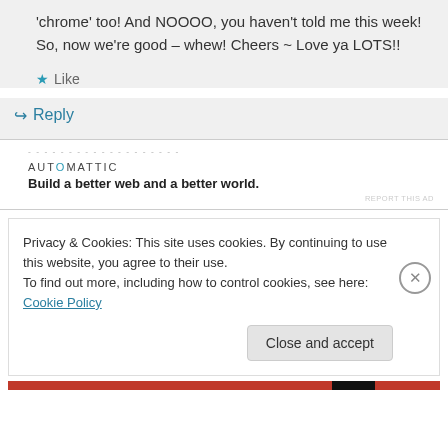'chrome' too! And NOOOO, you haven't told me this week! So, now we're good – whew! Cheers ~ Love ya LOTS!!
★ Like
↳ Reply
AUTOMATTIC
Build a better web and a better world.
REPORT THIS AD
Privacy & Cookies: This site uses cookies. By continuing to use this website, you agree to their use.
To find out more, including how to control cookies, see here: Cookie Policy
Close and accept